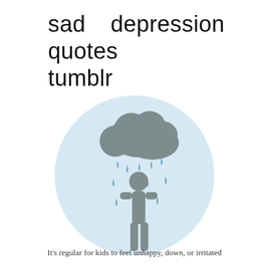sad depression quotes tumblr
[Figure (illustration): A light blue circle containing a grey rain cloud with blue raindrops falling on a grey stick figure person standing below.]
It's regular for kids to feel unhappy, down, or irritated